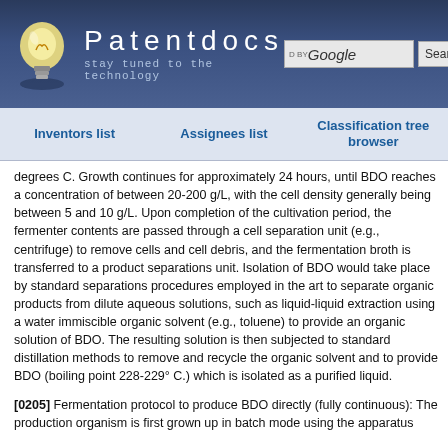[Figure (screenshot): Patentdocs website header with lightbulb logo, site title 'Patentdocs', tagline 'stay tuned to the technology', and Google search bar with Search button]
Inventors list | Assignees list | Classification tree browser
degrees C. Growth continues for approximately 24 hours, until BDO reaches a concentration of between 20-200 g/L, with the cell density generally being between 5 and 10 g/L. Upon completion of the cultivation period, the fermenter contents are passed through a cell separation unit (e.g., centrifuge) to remove cells and cell debris, and the fermentation broth is transferred to a product separations unit. Isolation of BDO would take place by standard separations procedures employed in the art to separate organic products from dilute aqueous solutions, such as liquid-liquid extraction using a water immiscible organic solvent (e.g., toluene) to provide an organic solution of BDO. The resulting solution is then subjected to standard distillation methods to remove and recycle the organic solvent and to provide BDO (boiling point 228-229° C.) which is isolated as a purified liquid.
[0205] Fermentation protocol to produce BDO directly (fully continuous): The production organism is first grown up in batch mode using the apparatus